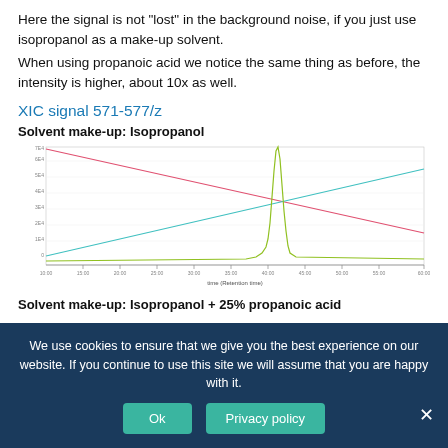Here the signal is not "lost" in the background noise, if you just use isopropanol as a make-up solvent.
When using propanoic acid we notice the same thing as before, the intensity is higher, about 10x as well.
XIC signal 571-577/z
Solvent make-up: Isopropanol
[Figure (continuous-plot): XIC signal 571-577/z chromatogram showing three overlapping traces: a red/pink diagonal line decreasing left to right, a cyan/teal diagonal line increasing left to right, and a yellow-green trace with a sharp tall peak near the center-right. X-axis shows time (retention time), y-axis shows intensity. The yellow-green peak rises sharply above both diagonal lines.]
Solvent make-up: Isopropanol + 25% propanoic acid
We use cookies to ensure that we give you the best experience on our website. If you continue to use this site we will assume that you are happy with it.